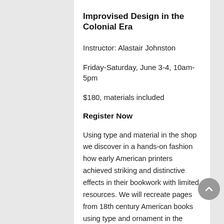Improvised Design in the Colonial Era
Instructor: Alastair Johnston
Friday-Saturday, June 3-4, 10am-5pm
$180, materials included
Register Now
Using type and material in the shop we discover in a hands-on fashion how early American printers achieved striking and distinctive effects in their bookwork with limited resources. We will recreate pages from 18th century American books using type and ornament in the studio and